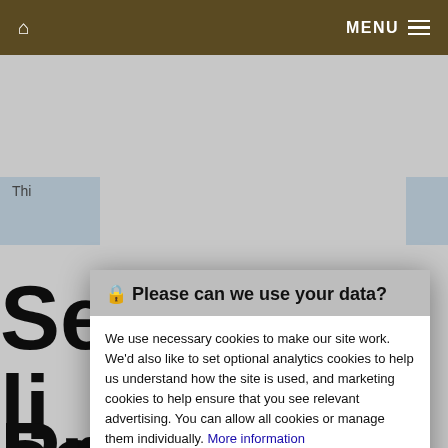Home  MENU
[Figure (screenshot): Partial website page visible behind cookie consent modal. Shows a light blue notification banner and large partial text headings starting with 'Se', 'li', 'sc', 'Priory' in large bold black font on white background.]
🔒 Please can we use your data?
We use necessary cookies to make our site work. We'd also like to set optional analytics cookies to help us understand how the site is used, and marketing cookies to help ensure that you see relevant advertising. You can allow all cookies or manage them individually. More information
Accept Cookies
Customise Cookies